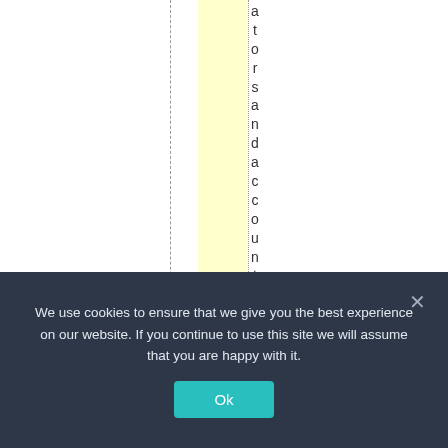[Figure (other): A table or spreadsheet view partially visible, showing a yellow highlighted column with a dashed vertical line to its left and a dotted vertical line to its right. Vertical text reading 'atorsandaccountant' is displayed letter by letter along the dotted line.]
We use cookies to ensure that we give you the best experience on our website. If you continue to use this site we will assume that you are happy with it.